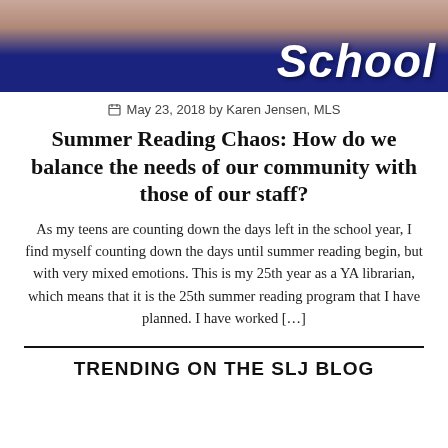[Figure (photo): Photo banner showing partial face and dark navy background with the word 'School' in white italic lettering]
May 23, 2018 by Karen Jensen, MLS
Summer Reading Chaos: How do we balance the needs of our community with those of our staff?
As my teens are counting down the days left in the school year, I find myself counting down the days until summer reading begin, but with very mixed emotions. This is my 25th year as a YA librarian, which means that it is the 25th summer reading program that I have planned. I have worked […]
TRENDING ON THE SLJ BLOG